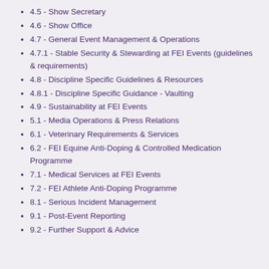4.5 - Show Secretary
4.6 - Show Office
4.7 - General Event Management & Operations
4.7.1 - Stable Security & Stewarding at FEI Events (guidelines & requirements)
4.8 - Discipline Specific Guidelines & Resources
4.8.1 - Discipline Specific Guidance - Vaulting
4.9 - Sustainability at FEI Events
5.1 - Media Operations & Press Relations
6.1 - Veterinary Requirements & Services
6.2 - FEI Equine Anti-Doping & Controlled Medication Programme
7.1 - Medical Services at FEI Events
7.2 - FEI Athlete Anti-Doping Programme
8.1 - Serious Incident Management
9.1 - Post-Event Reporting
9.2 - Further Support & Advice